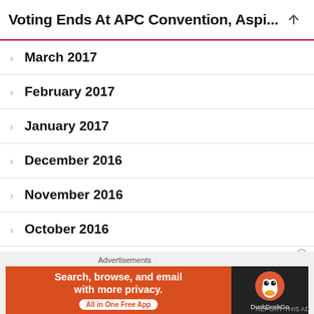Voting Ends At APC Convention, Aspi...
March 2017
February 2017
January 2017
December 2016
November 2016
October 2016
September 2016
August 2016
[Figure (infographic): DuckDuckGo advertisement banner: orange background with text 'Search, browse, and email with more privacy. All in One Free App' and DuckDuckGo logo on dark background]
Advertisements